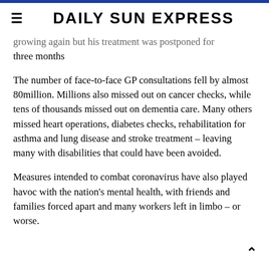DAILY SUN EXPRESS
growing again but his treatment was postponed for three months
The number of face-to-face GP consultations fell by almost 80million. Millions also missed out on cancer checks, while tens of thousands missed out on dementia care. Many others missed heart operations, diabetes checks, rehabilitation for asthma and lung disease and stroke treatment – leaving many with disabilities that could have been avoided.
Measures intended to combat coronavirus have also played havoc with the nation's mental health, with friends and families forced apart and many workers left in limbo – or worse.